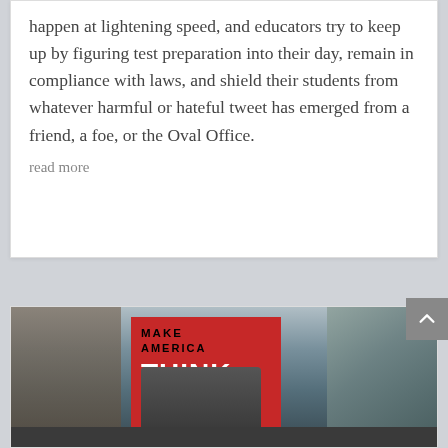happen at lightening speed, and educators try to keep up by figuring test preparation into their day, remain in compliance with laws, and shield their students from whatever harmful or hateful tweet has emerged from a friend, a foe, or the Oval Office.
read more
[Figure (photo): A person holding a red sign that reads 'MAKE AMERICA THINK AGAIN' at a street protest in an urban setting with city buildings in the background.]